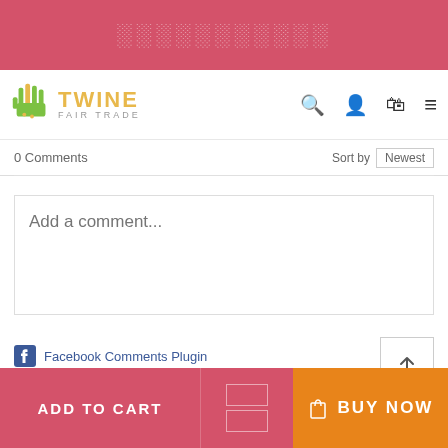[redacted text in pink banner]
[Figure (logo): Twine Fair Trade logo with green hand graphic and yellow TWINE text]
0 Comments  Sort by [Newest]
Add a comment...
Facebook Comments Plugin
ADD TO CART   [boxes]   BUY NOW